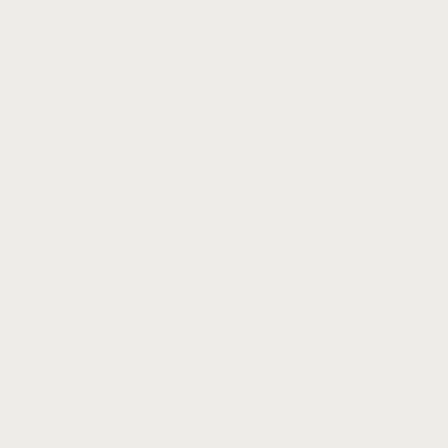and sim No is sim with the IR and afte it refu to rec tha I exi: eve afte fillin in all the